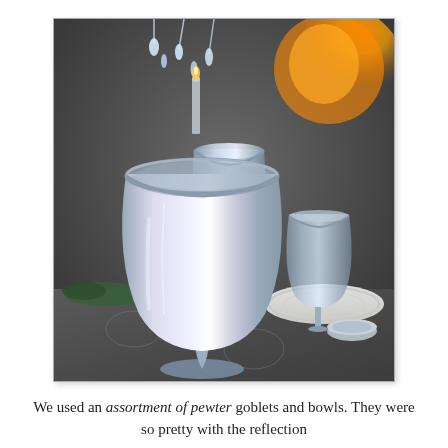[Figure (photo): A close-up photo of silver/pewter goblets and glassware arranged on a formal dining table with white plates, a patterned gray tablecloth, and a chandelier with crystal drops visible in the background. A warm orange glow from a fire or candle is visible in the upper right background.]
We used an assortment of pewter goblets and bowls. They were so pretty with the reflection